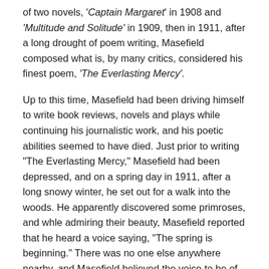of two novels, 'Captain Margaret' in 1908 and 'Multitude and Solitude' in 1909, then in 1911, after a long drought of poem writing, Masefield composed what is, by many critics, considered his finest poem, 'The Everlasting Mercy'.
Up to this time, Masefield had been driving himself to write book reviews, novels and plays while continuing his journalistic work, and his poetic abilities seemed to have died. Just prior to writing "The Everlasting Mercy," Masefield had been depressed, and on a spring day in 1911, after a long snowy winter, he set out for a walk into the woods. He apparently discovered some primroses, and whle admiring their beauty, Masefield reported that he heard a voice saying, "The spring is beginning." There was no one else anywhere nearby, and Masefield believed the voice to be of supernatural origin.
Several weeks later, again enjoying the natural beauty of